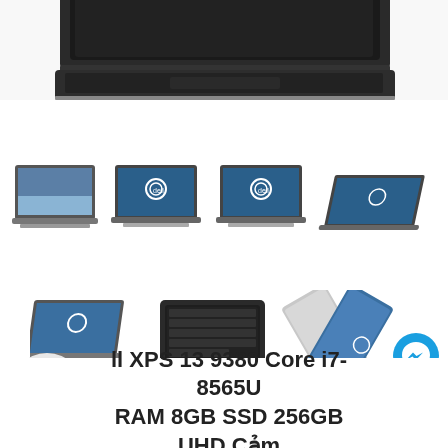[Figure (photo): Partial top view of a Dell XPS 13 laptop, showing keyboard and top portion from above, on white background]
[Figure (photo): Row of four Dell XPS 13 laptops shown from different angles: open screen showing wallpaper, front view with Dell logo on screen, another front view with Dell logo, and angled side view]
[Figure (photo): Row of three Dell XPS 13 laptops: side angle view, top-down keyboard view, and two laptops standing open in an X shape]
[Figure (logo): Blue circular WhatsApp/phone icon button on lower left]
[Figure (logo): Blue circular Messenger icon on lower right]
[Figure (logo): Blue circular Zalo icon on lower right]
ll XPS 13 9380 Core i7-8565U RAM 8GB SSD 256GB UHD Cảm